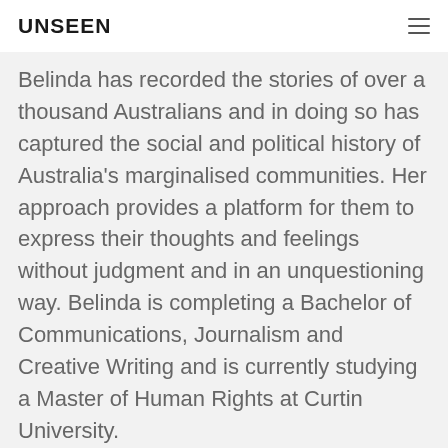UNSEEN
Belinda has recorded the stories of over a thousand Australians and in doing so has captured the social and political history of Australia's marginalised communities. Her approach provides a platform for them to express their thoughts and feelings without judgment and in an unquestioning way. Belinda is completing a Bachelor of Communications, Journalism and Creative Writing and is currently studying a Master of Human Rights at Curtin University.